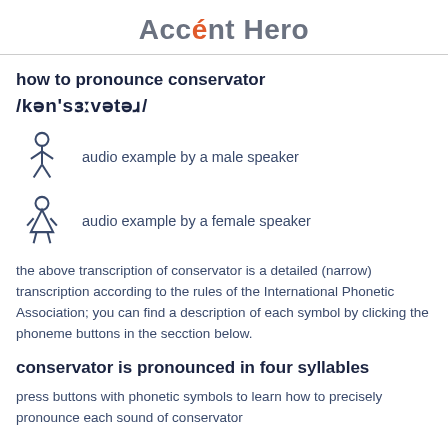Accént Hero
how to pronounce conservator /kən'sɜːvətəɹ/
audio example by a male speaker
audio example by a female speaker
the above transcription of conservator is a detailed (narrow) transcription according to the rules of the International Phonetic Association; you can find a description of each symbol by clicking the phoneme buttons in the secction below.
conservator is pronounced in four syllables
press buttons with phonetic symbols to learn how to precisely pronounce each sound of conservator